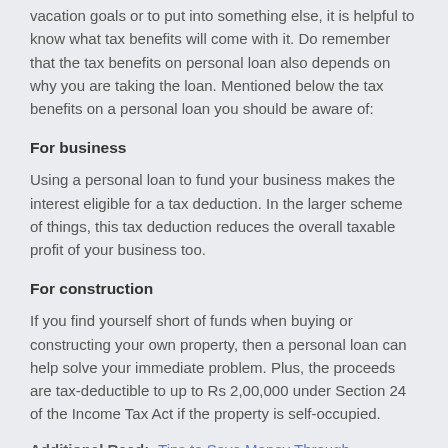vacation goals or to put into something else, it is helpful to know what tax benefits will come with it. Do remember that the tax benefits on personal loan also depends on why you are taking the loan. Mentioned below the tax benefits on a personal loan you should be aware of:
For business
Using a personal loan to fund your business makes the interest eligible for a tax deduction. In the larger scheme of things, this tax deduction reduces the overall taxable profit of your business too.
For construction
If you find yourself short of funds when buying or constructing your own property, then a personal loan can help solve your immediate problem. Plus, the proceeds are tax-deductible to up to Rs 2,00,000 under Section 24 of the Income Tax Act if the property is self-occupied.
Additional Read:- Tips to Save Money Through